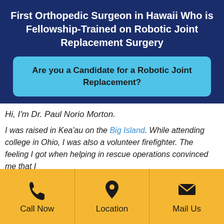First Orthopedic Surgeon in Hawaii Who is Fellowship-Trained on Robotic Joint Replacement Surgery
Are you a Candidate for a Robotic Joint Replacement?
Hi, I'm Dr. Paul Norio Morton.
I was raised in Kea'au on the Big Island. While attending college in Ohio, I was also a volunteer firefighter. The feeling I got when helping in rescue operations convinced me that I
Call Now | Location | Mail Us